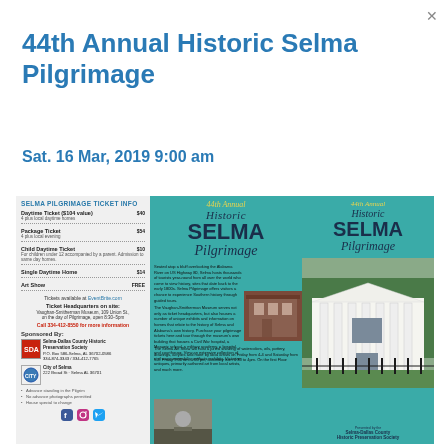44th Annual Historic Selma Pilgrimage
Sat.  16 Mar, 2019 9:00 am
[Figure (photo): Brochure for 44th Annual Historic Selma Pilgrimage, showing ticket information on left panel, event description and photos in middle panel, and a photo of a historic mansion on the right panel. The brochure features a teal/turquoise background with the text 'Historic SELMA Pilgrimage' and is promoted by the Selma-Dallas County Historic Preservation Society.]